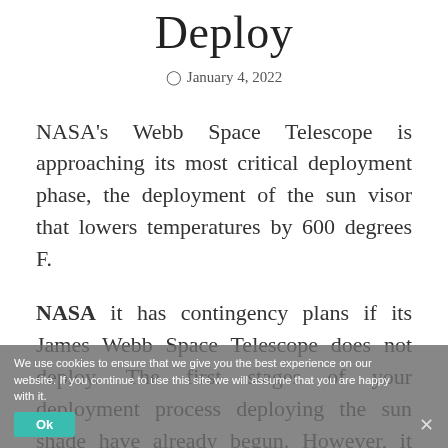Deploy
January 4, 2022
NASA's Webb Space Telescope is approaching its most critical deployment phase, the deployment of the sun visor that lowers temperatures by 600 degrees F.
NASA it has contingency plans if its James Webb Space Telescope does not deploy. The first stages of your deployment process deploying the sun shade have already begun. However, it will take several days to expand to full size, making it one of the most harrowing
We use cookies to ensure that we give you the best experience on our website. If you continue to use this site we will assume that you are happy with it.